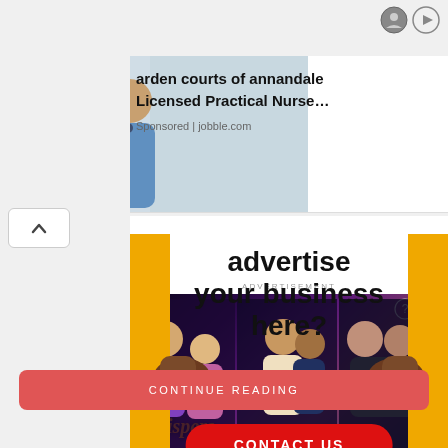[Figure (screenshot): Top-right icons: avatar circle and play button icon for ad controls]
[Figure (photo): Advertisement banner: nurse/caregiver with elderly patient photo on left, garden courts of annandale job listing on right]
arden courts of annandale
Licensed Practical Nurse…
Sponsored | jobble.com
[Figure (infographic): Advertise your business here? banner with yellow vertical bars and hands holding sign, with CONTACT US red button]
advertise your business here?
CONTACT US
CONTINUE READING
[Figure (screenshot): Whispers interactive story game advertisement with romantic imagery and logo at bottom left]